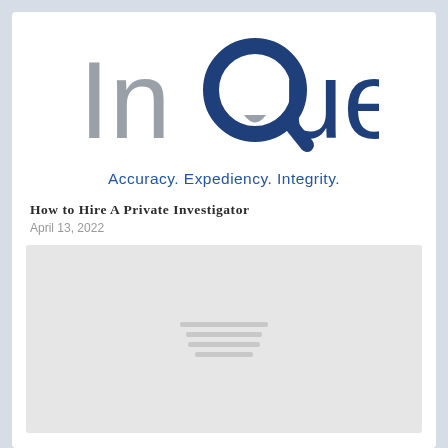[Figure (logo): InQuest logo with grey 'In' and dark blue 'Quest' text with a magnifying glass Q graphic]
Accuracy. Expediency. Integrity.
How to Hire A Private Investigator
April 13, 2022
[Figure (illustration): Grey placeholder image with three horizontal lines in the center representing a loading/placeholder article image]